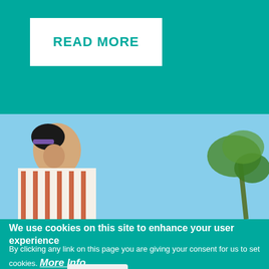[Figure (other): White button/box with teal 'READ MORE' text on a teal background]
[Figure (photo): Outdoor photo showing a person wearing a striped garment viewed from below against a blue sky, with tree branches visible on the right]
We use cookies on this site to enhance your user experience
By clicking any link on this page you are giving your consent for us to set cookies. More Info
OK, I agree
Decline